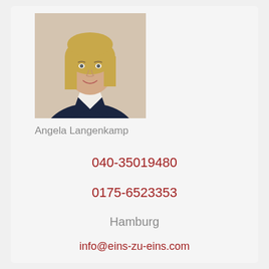[Figure (photo): Professional headshot of a blonde woman in a dark blazer and white top, smiling, against a light background]
Angela Langenkamp
040-35019480
0175-6523353
Hamburg
info@eins-zu-eins.com